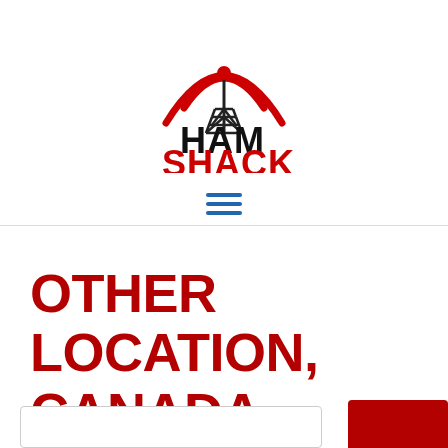[Figure (logo): Ham Shack logo with a radio tower and red signal arcs above the text HAM SHACK, where HAM is in black and SHACK is in red bold letters]
[Figure (infographic): Hamburger menu icon with three horizontal blue lines]
OTHER LOCATION, CANADA